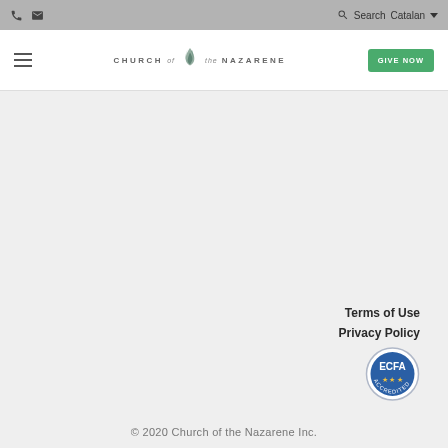Church of the Nazarene website header with phone icon, mail icon, search, Catalan language selector, hamburger menu, logo, and GIVE NOW button
[Figure (logo): Church of the Nazarene logo with flame icon and text CHURCH OF THE NAZARENE]
Terms of Use
Privacy Policy
[Figure (logo): ECFA Accredited seal/badge circular logo]
© 2020 Church of the Nazarene Inc.